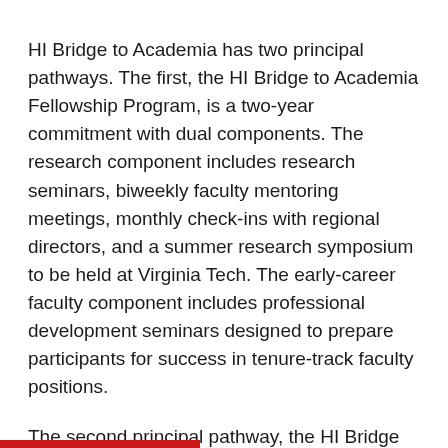HI Bridge to Academia has two principal pathways. The first, the HI Bridge to Academia Fellowship Program, is a two-year commitment with dual components. The research component includes research seminars, biweekly faculty mentoring meetings, monthly check-ins with regional directors, and a summer research symposium to be held at Virginia Tech. The early-career faculty component includes professional development seminars designed to prepare participants for success in tenure-track faculty positions.
The second principal pathway, the HI Bridge to Academia Faculty Mentoring Program, is designed to enhance the skillsets and practices of faculty mentors more broadly by engaging them in sessions focused on effectively mentoring historically underrepresented doctoral